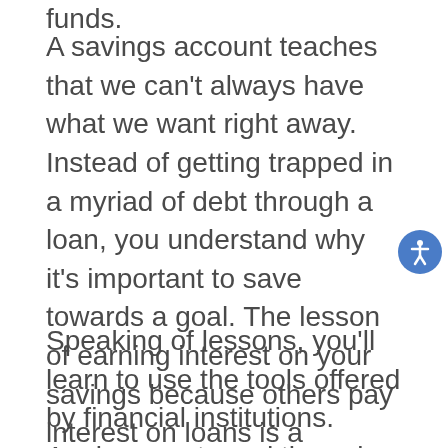funds.
A savings account teaches that we can't always have what we want right away. Instead of getting trapped in a myriad of debt through a loan, you understand why it's important to save towards a goal. The lesson of earning interest on your savings because others pay interest on loans is a valuable lesson.
Speaking of lessons, you'll learn to use the tools offered by financial institutions. Analyze costs and the value of stocks and IRAs. Compare interest rates before